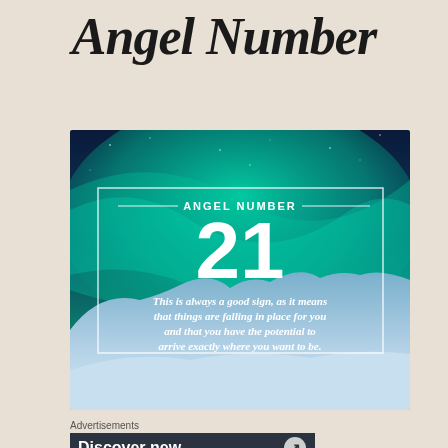Angel Number
[Figure (infographic): Northern lights / aurora borealis background with snowy mountains at bottom. White text overlay reads: ANGEL NUMBER 21. This is always a good sign, as it means that things are falling in place for you and that you have the potential to arrive exactly where you want to be. A white rectangular border frames the text area.]
Advertisements
Discover new